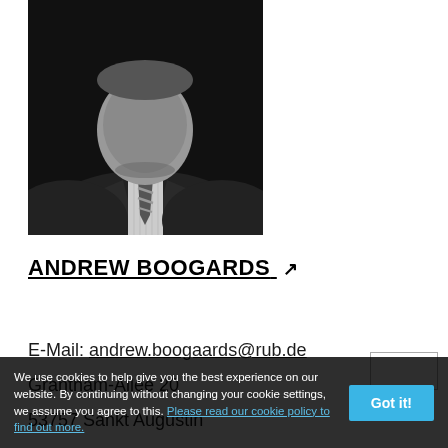[Figure (photo): Black and white portrait photo of a man in a suit and striped tie, cropped to show chest and head area]
ANDREW BOOGARDS ↗
E-Mail: andrew.boogaards@rub.de
Grantham-Allee 20
53757 Sankt Augustin
We use cookies to help give you the best experience on our website. By continuing without changing your cookie settings, we assume you agree to this. Please read our cookie policy to find out more.